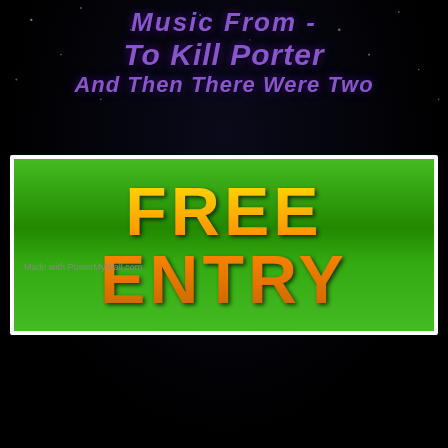Music From - To Kill Porter And Then There Were Two
[Figure (infographic): Green banner button with golden yellow text reading FREE ENTRY, outlined in white border]
Made with PosterMyWall.com